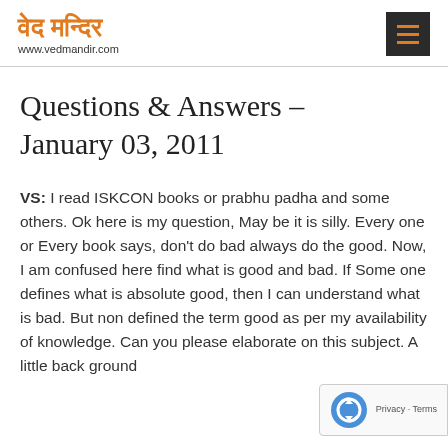वेद मन्दिर www.vedmandir.com
Questions & Answers – January 03, 2011
VS: I read ISKCON books or prabhu padha and some others. Ok here is my question, May be it is silly. Every one or Every book says, don't do bad always do the good. Now, I am confused here find what is good and bad. If Some one defines what is absolute good, then I can understand what is bad. But non defined the term good as per my availability of knowledge. Can you please elaborate on this subject. A little back ground